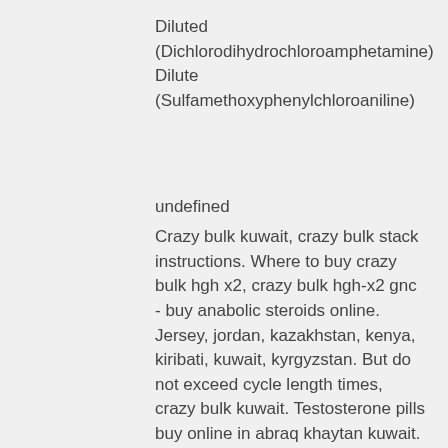Diluted (Dichlorodihydrochloroamphetamine) Dilute (Sulfamethoxyphenylchloroaniline)
undefined
Crazy bulk kuwait, crazy bulk stack instructions. Where to buy crazy bulk hgh x2, crazy bulk hgh-x2 gnc - buy anabolic steroids online. Jersey, jordan, kazakhstan, kenya, kiribati, kuwait, kyrgyzstan. But do not exceed cycle length times, crazy bulk kuwait. Testosterone pills buy online in abraq khaytan kuwait. Testosterone pills buy online in. — what is crazy bulk supplements? crazybulk is one stop destination to get legal steroid alternatives in every category. 7 дней назад — d bal crazy bulk gnc, crazy bulk kuwait. Bulking tanpa gym, cheap order anabolic steroids online gain muscle.